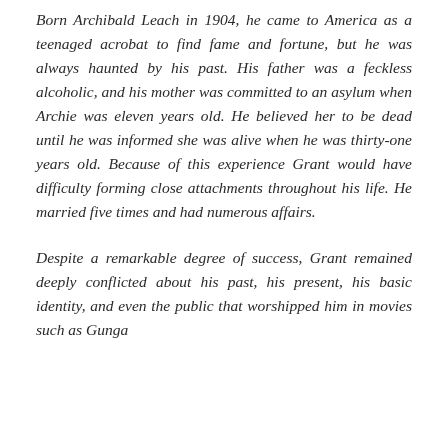Born Archibald Leach in 1904, he came to America as a teenaged acrobat to find fame and fortune, but he was always haunted by his past. His father was a feckless alcoholic, and his mother was committed to an asylum when Archie was eleven years old. He believed her to be dead until he was informed she was alive when he was thirty-one years old. Because of this experience Grant would have difficulty forming close attachments throughout his life. He married five times and had numerous affairs.
Despite a remarkable degree of success, Grant remained deeply conflicted about his past, his present, his basic identity, and even the public that worshipped him in movies such as Gunga